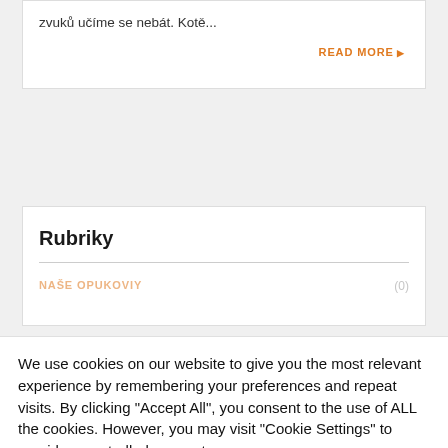zvuků učíme se nebát. Kotě...
READ MORE
Rubriky
NAŠE OPUKOVIY (0)
We use cookies on our website to give you the most relevant experience by remembering your preferences and repeat visits. By clicking "Accept All", you consent to the use of ALL the cookies. However, you may visit "Cookie Settings" to provide a controlled consent.
Nastavení souborů cookie | Přijmout vše